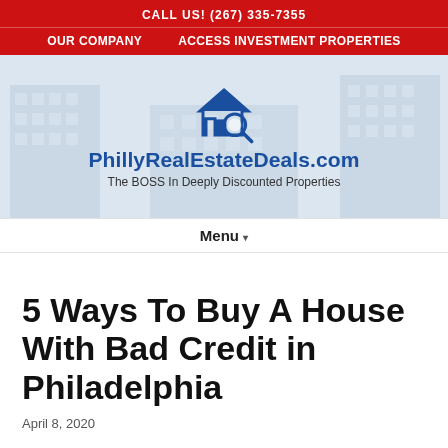CALL US! (267) 335-7355   OUR COMPANY   ACCESS INVESTMENT PROPERTIES
[Figure (logo): PhillyRealEstateDeals.com logo with house and magnifying glass icon in blue, text PhillyRealEstateDeals.com in bold blue, subtitle The BOSS In Deeply Discounted Properties]
Menu ▾
5 Ways To Buy A House With Bad Credit in Philadelphia
April 8, 2020